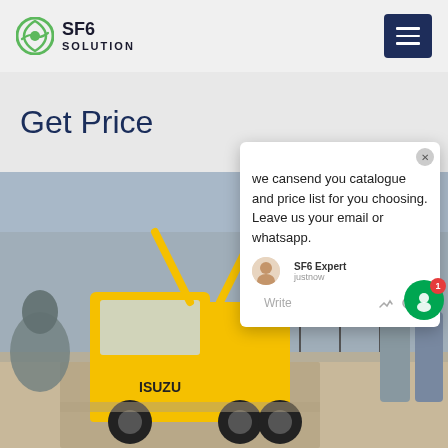SF6 SOLUTION
Get Price
[Figure (screenshot): Chat popup widget showing message: 'we can send you catalogue and price list for you choosing. Leave us your email or whatsapp.' with SF6 Expert agent label and 'just now' timestamp, Write field at bottom]
[Figure (photo): Yellow Isuzu truck at an outdoor electrical substation with high-voltage equipment, power lines, and industrial infrastructure in the background]